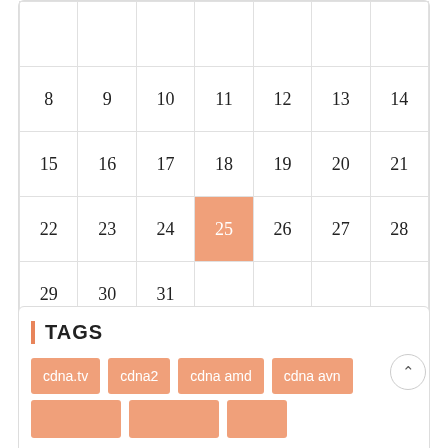| 8 | 9 | 10 | 11 | 12 | 13 | 14 |
| 15 | 16 | 17 | 18 | 19 | 20 | 21 |
| 22 | 23 | 24 | 25 | 26 | 27 | 28 |
| 29 | 30 | 31 |  |  |  |  |
« Aug
TAGS
cdna.tv
cdna2
cdna amd
cdna avn